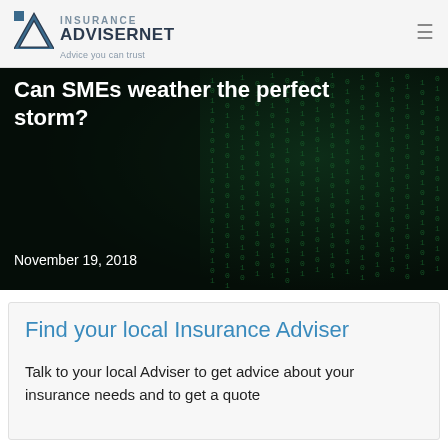INSURANCE ADVISERNET — Advice you can trust
Can SMEs weather the perfect storm?
November 19, 2018
Find your local Insurance Adviser
Talk to your local Adviser to get advice about your insurance needs and to get a quote